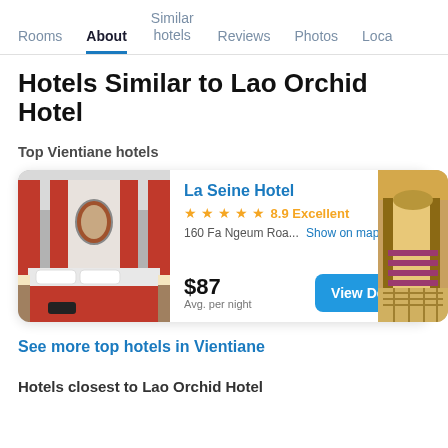Rooms | About | Similar hotels | Reviews | Photos | Loca...
Hotels Similar to Lao Orchid Hotel
Top Vientiane hotels
[Figure (photo): Hotel room with red and white decor, bed with red bedding]
La Seine Hotel
★★★★★ 8.9 Excellent
160 Fa Ngeum Roa... Show on map
$87 Avg. per night
View Deals
[Figure (photo): Hotel lobby/interior with warm lighting and decorative columns]
See more top hotels in Vientiane
Hotels closest to Lao Orchid Hotel